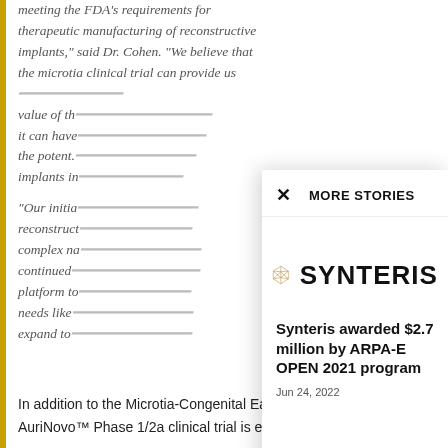meeting the FDA's requirements for therapeutic manufacturing of reconstructive implants," said Dr. Cohen. "We believe that the microtia clinical trial can provide us with the evidence about the value of the technology, the impact it can have on patients, and the potential to use 3D-printed implants in...
"Our initial focus is on ear reconstruction, but we plan to address complex nasal... continued ... platform to needs like ... expand to...
MORE STORIES
[Figure (logo): Synteris company logo — geometric polyhedron icon in gold/amber color next to bold text 'SYNTERIS']
Synteris awarded $2.7 million by ARPA-E OPEN 2021 program
Jun 24, 2022
In addition to the Microtia-Congenital Ear Deformity Institute, the AuriNovo™ Phase 1/2a clinical trial is enrolling patients at Cedars-